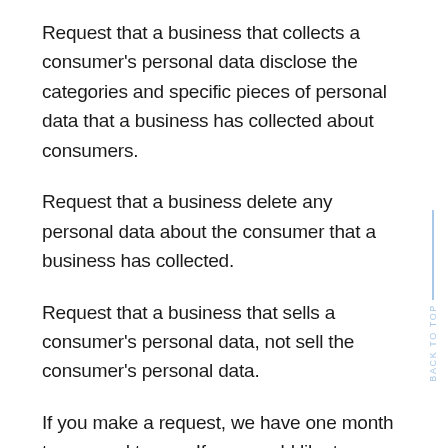Request that a business that collects a consumer's personal data disclose the categories and specific pieces of personal data that a business has collected about consumers.
Request that a business delete any personal data about the consumer that a business has collected.
Request that a business that sells a consumer's personal data, not sell the consumer's personal data.
If you make a request, we have one month to respond to you. If you would like to exercise any of these rights, please contact us.